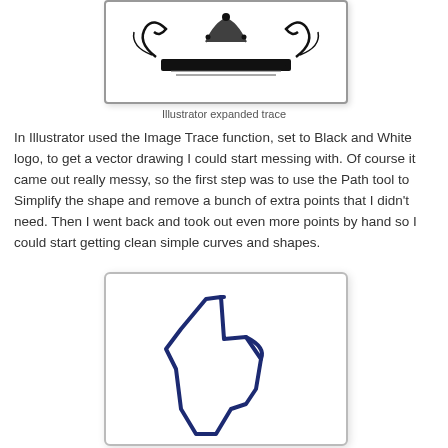[Figure (illustration): Illustrator expanded trace of a decorative book/scroll image shown in a white box with grey border]
Illustrator expanded trace
In Illustrator used the Image Trace function, set to Black and White logo, to get a vector drawing I could start messing with. Of course it came out really messy, so the first step was to use the Path tool to Simplify the shape and remove a bunch of extra points that I didn't need. Then I went back and took out even more points by hand so I could start getting clean simple curves and shapes.
[Figure (illustration): Simplified outline/vector drawing of a boot or figure shape in dark navy blue on white background, showing clean curves after path simplification]